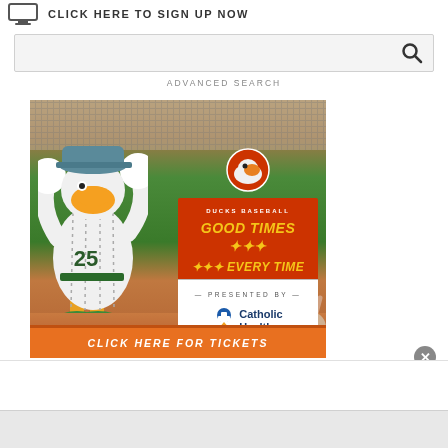CLICK HERE TO SIGN UP NOW
[Figure (screenshot): Search bar with magnifying glass icon and ADVANCED SEARCH link below]
[Figure (photo): Ducks Baseball mascot (duck in pinstripe uniform) with arms raised at a baseball stadium. Overlay text shows 'DUCKS BASEBALL - GOOD TIMES EVERY TIME - PRESENTED BY Catholic Health' logo. Bottom orange button reads 'CLICK HERE FOR TICKETS'.]
[Figure (other): Close button (X) overlay on bottom right of ad]